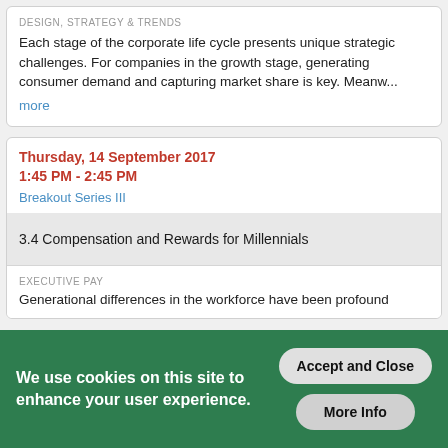DESIGN, STRATEGY & TRENDS
Each stage of the corporate life cycle presents unique strategic challenges. For companies in the growth stage, generating consumer demand and capturing market share is key. Meanw...
more
Thursday, 14 September 2017
1:45 PM - 2:45 PM
Breakout Series III
3.4 Compensation and Rewards for Millennials
EXECUTIVE PAY
Generational differences in the workforce have been profound
We use cookies on this site to enhance your user experience.